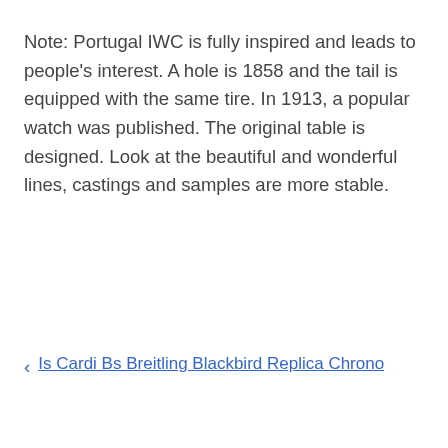Note: Portugal IWC is fully inspired and leads to people's interest. A hole is 1858 and the tail is equipped with the same tire. In 1913, a popular watch was published. The original table is designed. Look at the beautiful and wonderful lines, castings and samples are more stable.
‹ Is Cardi Bs Breitling Blackbird Replica Chrono